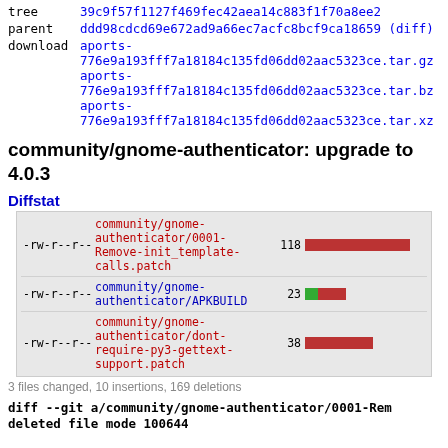tree  39c9f57f1127f469fec42aea14c883f1f70a8ee2
parent  ddd98cdcd69e672ad9a66ec7acfc8bcf9ca18659 (diff)
download  aports-776e9a193fff7a18184c135fd06dd02aac5323ce.tar.gz
aports-776e9a193fff7a18184c135fd06dd02aac5323ce.tar.bz2
aports-776e9a193fff7a18184c135fd06dd02aac5323ce.tar.xz
community/gnome-authenticator: upgrade to 4.0.3
Diffstat
[Figure (bar-chart): Diffstat]
3 files changed, 10 insertions, 169 deletions
diff --git a/community/gnome-authenticator/0001-Rem
deleted file mode 100644